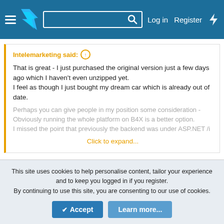Navigation bar with hamburger menu, flame logo, search box, Log in, Register, lightning icon
Intelemarketing said: ↑
That is great - I just purchased the original version just a few days ago which I haven't even unzipped yet.
I feel as though I just bought my dream car which is already out of date.

Perhaps you can give people in my position some consideration - Obviously running the whole platform on B4X is a better option. I missed the point that previously the backend was under ASP.NET /...
Click to expand...
Hello,
First of all thank you very much for your purchase 🙂
As for the first version, We already mentioned in the first version that's it was made in asp.net :
This site uses cookies to help personalise content, tailor your experience and to keep you logged in if you register.
By continuing to use this site, you are consenting to our use of cookies.
Accept
Learn more...